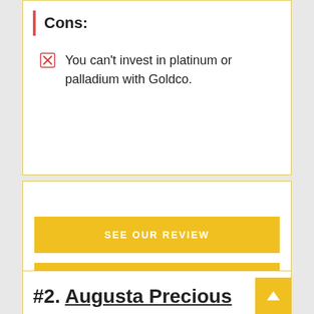Cons:
You can't invest in platinum or palladium with Goldco.
SEE OUR REVIEW
VISIT: GOLDCO
#2. Augusta Precious Metals